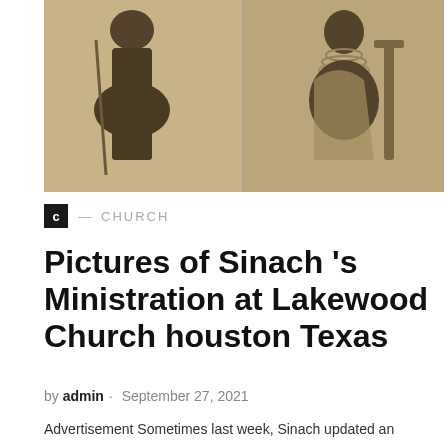[Figure (photo): Two historical sepia-toned illustrations side by side: left shows a figure from behind, right shows a figure seated next to a chair, both wearing traditional attire with jewelry and accessories.]
C — CHURCH
Pictures of Sinach 's Ministration at Lakewood Church houston Texas
by admin · September 27, 2021
Advertisement Sometimes last week, Sinach updated an